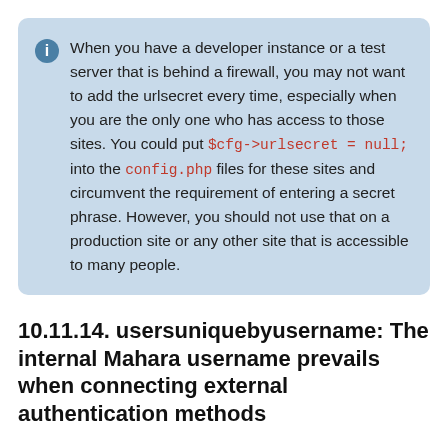When you have a developer instance or a test server that is behind a firewall, you may not want to add the urlsecret every time, especially when you are the only one who has access to those sites. You could put $cfg->urlsecret = null; into the config.php files for these sites and circumvent the requirement of entering a secret phrase. However, you should not use that on a production site or any other site that is accessible to many people.
10.11.14. usersuniquebyusername: The internal Mahara username prevails when connecting external authentication methods